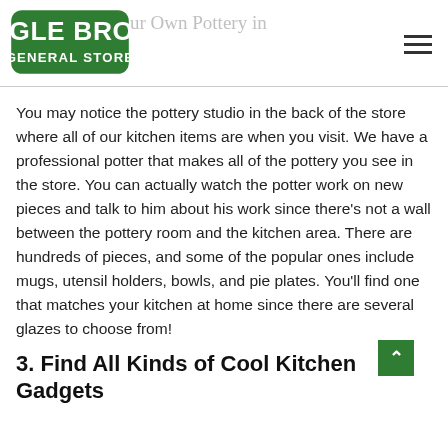Ogle Bros General Store — Make Your Own Pottery in the Home
You may notice the pottery studio in the back of the store where all of our kitchen items are when you visit. We have a professional potter that makes all of the pottery you see in the store. You can actually watch the potter work on new pieces and talk to him about his work since there's not a wall between the pottery room and the kitchen area. There are hundreds of pieces, and some of the popular ones include mugs, utensil holders, bowls, and pie plates. You'll find one that matches your kitchen at home since there are several glazes to choose from!
3. Find All Kinds of Cool Kitchen Gadgets